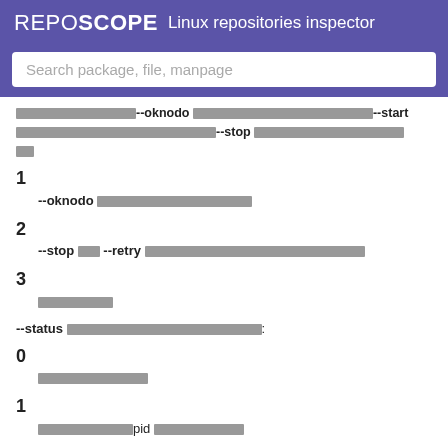REPOSCOPE  Linux repositories inspector
Search package, file, manpage
...--oknodo ...--start ...--stop ...
1
--oknodo [CJK text]
2
--stop [CJK] --retry [CJK text]
3
[CJK text]
--status [CJK text]:
0
[CJK text]
1
[CJK text] pid [CJK text]
3
[CJK text]
4